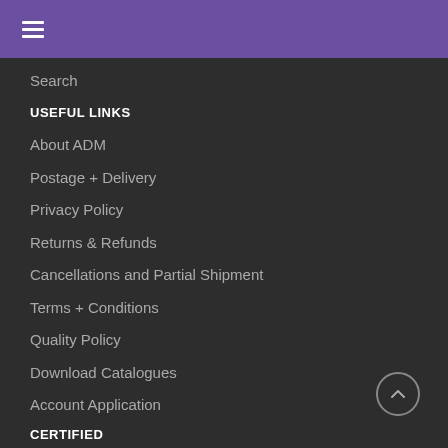≡
Search
USEFUL LINKS
About ADM
Postage + Delivery
Privacy Policy
Returns & Refunds
Cancellations and Partial Shipment
Terms + Conditions
Quality Policy
Download Catalogues
Account Application
CERTIFIED